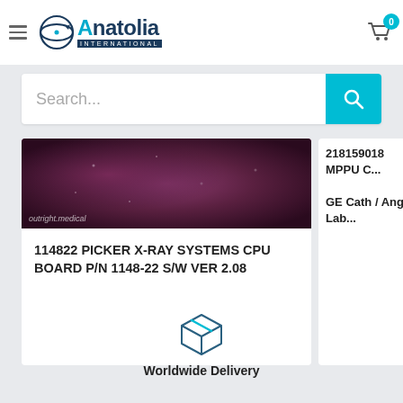[Figure (logo): Anatolia International logo with stylized globe/orbit icon]
Search...
[Figure (photo): Medical imaging product photo with outright.medical watermark]
114822 PICKER X-RAY SYSTEMS CPU BOARD P/N 1148-22 S/W VER 2.08
218159018 MPPU C... GE Cath / Angio Lab...
[Figure (illustration): Box/package icon for Worldwide Delivery]
Worldwide Delivery